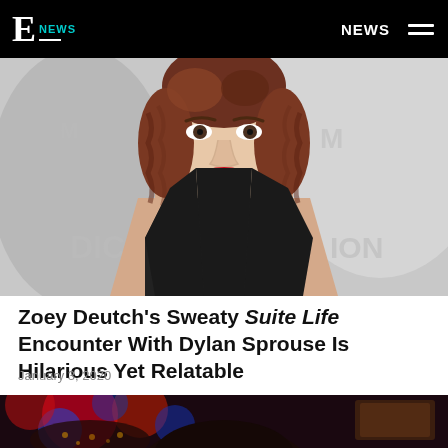E! NEWS — NEWS
[Figure (photo): Woman with short wavy auburn hair and red lipstick wearing a black top, posed in front of a Dior backdrop]
Zoey Deutch's Sweaty Suite Life Encounter With Dylan Sprouse Is Hilarious Yet Relatable
January 3, 2020
[Figure (photo): Partial image with colorful bokeh lights in background, dark foreground]